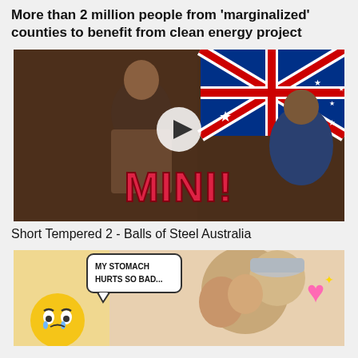More than 2 million people from 'marginalized' counties to benefit from clean energy project
[Figure (screenshot): Video thumbnail showing a man in a suit, Australian flag in top right corner, play button overlay in center, and large red text 'MINI!' at the bottom]
Short Tempered 2 - Balls of Steel Australia
[Figure (screenshot): Image with a speech bubble saying 'MY STOMACH HURTS SO BAD...', a crying yellow emoji on the left, people in the background, and a pink sparkling heart emoji on the right]